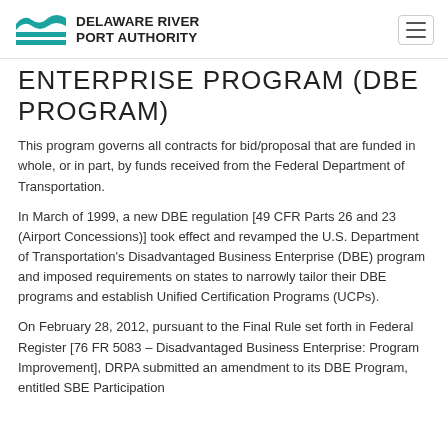Delaware River Port Authority
ENTERPRISE PROGRAM (DBE PROGRAM)
This program governs all contracts for bid/proposal that are funded in whole, or in part, by funds received from the Federal Department of Transportation.
In March of 1999, a new DBE regulation [49 CFR Parts 26 and 23 (Airport Concessions)] took effect and revamped the U.S. Department of Transportation's Disadvantaged Business Enterprise (DBE) program and imposed requirements on states to narrowly tailor their DBE programs and establish Unified Certification Programs (UCPs).
On February 28, 2012, pursuant to the Final Rule set forth in Federal Register [76 FR 5083 – Disadvantaged Business Enterprise: Program Improvement], DRPA submitted an amendment to its DBE Program, entitled SBE Participation